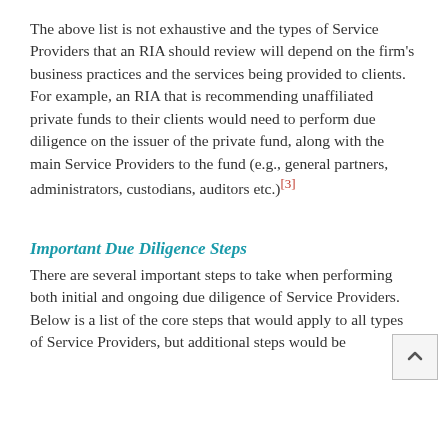The above list is not exhaustive and the types of Service Providers that an RIA should review will depend on the firm's business practices and the services being provided to clients.  For example, an RIA that is recommending unaffiliated private funds to their clients would need to perform due diligence on the issuer of the private fund, along with the main Service Providers to the fund (e.g., general partners, administrators, custodians, auditors etc.)[3]
Important Due Diligence Steps
There are several important steps to take when performing both initial and ongoing due diligence of Service Providers. Below is a list of the core steps that would apply to all types of Service Providers, but additional steps would be